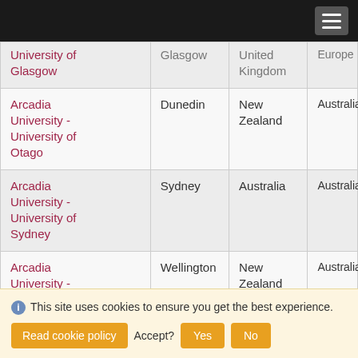| Institution | City | Country | Region |
| --- | --- | --- | --- |
| University of Glasgow | Glasgow | United Kingdom | Europe |
| Arcadia University - University of Otago | Dunedin | New Zealand | Australia/P |
| Arcadia University - University of Sydney | Sydney | Australia | Australia/P |
| Arcadia University - Victoria University of Wellington | Wellington | New Zealand | Australia/P |
| American Studies |  |  |  |
This site uses cookies to ensure you get the best experience. Read cookie policy  Accept?  Yes  No